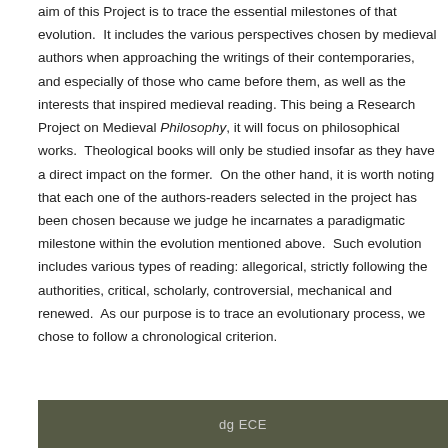aim of this Project is to trace the essential milestones of that evolution.  It includes the various perspectives chosen by medieval authors when approaching the writings of their contemporaries, and especially of those who came before them, as well as the interests that inspired medieval reading. This being a Research Project on Medieval Philosophy, it will focus on philosophical works.  Theological books will only be studied insofar as they have a direct impact on the former.  On the other hand, it is worth noting that each one of the authors-readers selected in the project has been chosen because we judge he incarnates a paradigmatic milestone within the evolution mentioned above.  Such evolution includes various types of reading: allegorical, strictly following the authorities, critical, scholarly, controversial, mechanical and renewed.  As our purpose is to trace an evolutionary process, we chose to follow a chronological criterion.
dg ECE